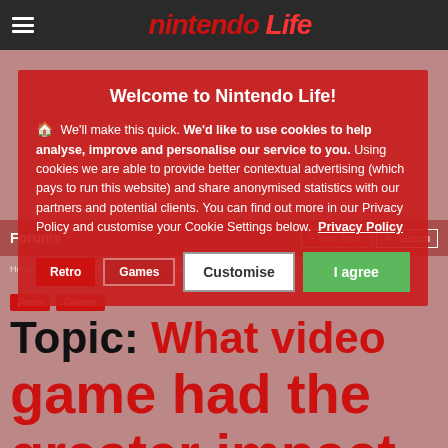[Figure (screenshot): Nintendo Life website screenshot showing a cookie consent overlay on top of a forum page. The page header shows the Nintendo Life logo in red italic text on a dark background. Behind the overlay, a forum page is visible with a topic title 'What video game had the greater impact on your childhood?' in large black and red text. Tags 'Retro' and 'Games' are visible.]
Welcome to Nintendo Life!
We'll make this quick. We'd like to use cookies to help analyse, improve and personalise our service to you. Using cookies we are able to provide better contextual advertising (which pays to run this website) and share anonymised statistics with our partners and potential clients. You can find out more in our Privacy Policy and customise your Cookie Settings below. Privacy Policy
Customise
I agree